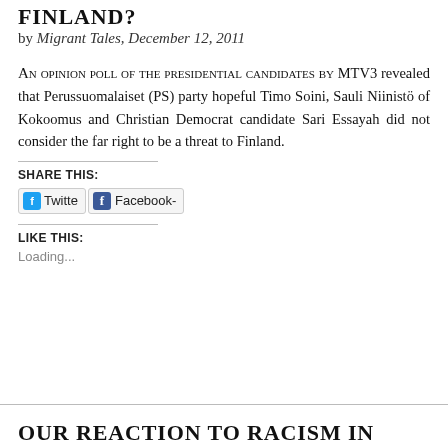FINLAND?
by Migrant Tales, December 12, 2011
An opinion poll of the presidential candidates by MTV3 revealed that Perussuomalaiset (PS) party hopeful Timo Soini, Sauli Niinistö of Kokoomus and Christian Democrat candidate Sari Essayah did not consider the far right to be a threat to Finland.
SHARE THIS:
Twitter  Facebook-
LIKE THIS:
Loading...
OUR REACTION TO RACISM IN